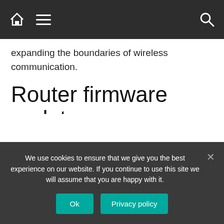Navigation bar with home icon, hamburger menu, and search icon
expanding the boundaries of wireless communication.
Router firmware update
Sometimes it can help update software (firmware) for the router. Manufacturers often find programmatic shortcomings in drivers for their
We use cookies to ensure that we give you the best experience on our website. If you continue to use this site we will assume that you are happy with it.